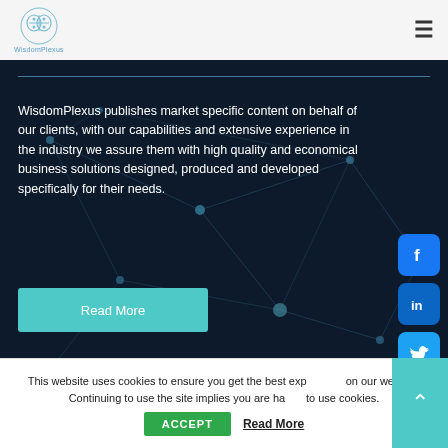[Figure (logo): WisdomPlexus brain/network logo with text below]
[Figure (illustration): Dark network background with connected nodes and lines]
WisdomPlexus publishes market specific content on behalf of our clients, with our capabilities and extensive experience in the industry we assure them with high quality and economical business solutions designed, produced and developed specifically for their needs.
Read More
[Figure (infographic): Social media icons: Facebook, LinkedIn, Twitter (teal/blue rounded square buttons)]
Get In Touch
This website uses cookies to ensure you get the best experience on our website. Continuing to use the site implies you are happy to use cookies.
ACCEPT
Read More